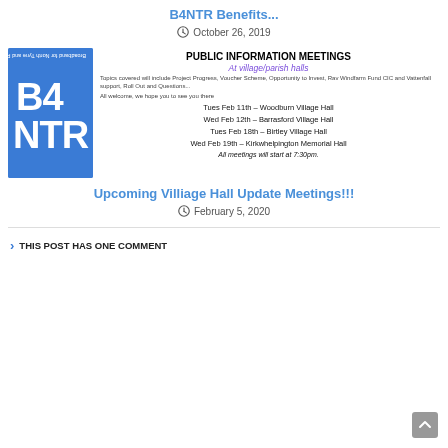B4NTR Benefits...
October 26, 2019
[Figure (infographic): B4NTR (Broadband for North Tyne and Redesdale) logo on blue background alongside Public Information Meetings flyer listing venues: Tues Feb 11th - Woodburn Village Hall, Wed Feb 12th - Barrasford Village Hall, Tues Feb 18th - Birtley Village Hall, Wed Feb 19th - Kirkwhelpington Memorial Hall. All meetings will start at 7:30pm.]
Upcoming Villiage Hall Update Meetings!!!
February 5, 2020
THIS POST HAS ONE COMMENT